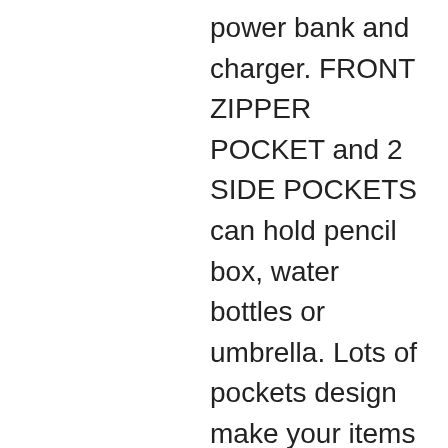power bank and charger. FRONT ZIPPER POCKET and 2 SIDE POCKETS can hold pencil box, water bottles or umbrella. Lots of pockets design make your items organized, say goodbye to dig around in bookbag.⬛If you have more storage needs or are taller than 5.84 feet, it is recommended to choose MAXTOP 17-inch backpack.⬛
❤ Creative USB Design with Detachable Cable&Inside Power Bank Pocket… With built in USB